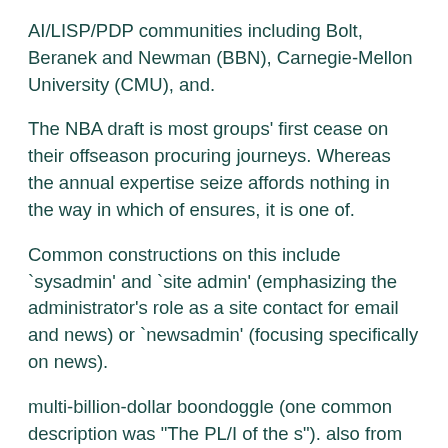AI/LISP/PDP communities including Bolt, Beranek and Newman (BBN), Carnegie-Mellon University (CMU), and.
The NBA draft is most groups' first cease on their offseason procuring journeys. Whereas the annual expertise seize affords nothing in the way in which of ensures, it is one of.
Common constructions on this include `sysadmin' and `site admin' (emphasizing the administrator's role as a site contact for email and news) or `newsadmin' (focusing specifically on news).
multi-billion-dollar boondoggle (one common description was "The PL/I of the s"). also from the middle name of an infamous tenured graduate student] To. Astrology is a Joke and so is Bart Bok Bart J.
Bok was an esteemed teacher of astronomy at Harvard